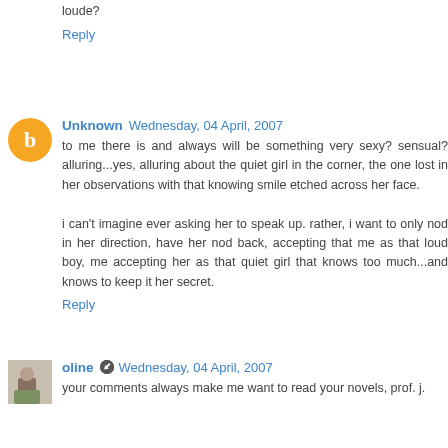loude?
Reply
Unknown  Wednesday, 04 April, 2007
to me there is and always will be something very sexy? sensual? alluring...yes, alluring about the quiet girl in the corner, the one lost in her observations with that knowing smile etched across her face.

i can't imagine ever asking her to speak up. rather, i want to only nod in her direction, have her nod back, accepting that me as that loud boy, me accepting her as that quiet girl that knows too much...and knows to keep it her secret.
Reply
oline  Wednesday, 04 April, 2007
your comments always make me want to read your novels, prof. j.